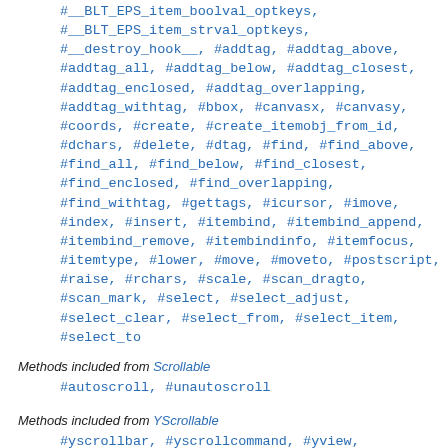#__BLT_EPS_item_boolval_optkeys, #__BLT_EPS_item_strval_optkeys, #__destroy_hook__, #addtag, #addtag_above, #addtag_all, #addtag_below, #addtag_closest, #addtag_enclosed, #addtag_overlapping, #addtag_withtag, #bbox, #canvasx, #canvasy, #coords, #create, #create_itemobj_from_id, #dchars, #delete, #dtag, #find, #find_above, #find_all, #find_below, #find_closest, #find_enclosed, #find_overlapping, #find_withtag, #gettags, #icursor, #imove, #index, #insert, #itembind, #itembind_append, #itembind_remove, #itembindinfo, #itemfocus, #itemtype, #lower, #move, #moveto, #postscript, #raise, #rchars, #scale, #scan_dragto, #scan_mark, #select, #select_adjust, #select_clear, #select_from, #select_item, #select_to
Methods included from Scrollable
#autoscroll, #unautoscroll
Methods included from YScrollable
#yscrollbar, #yscrollcommand, #yview, #yview_moveto, #yview_scroll
Methods included from XScrollable